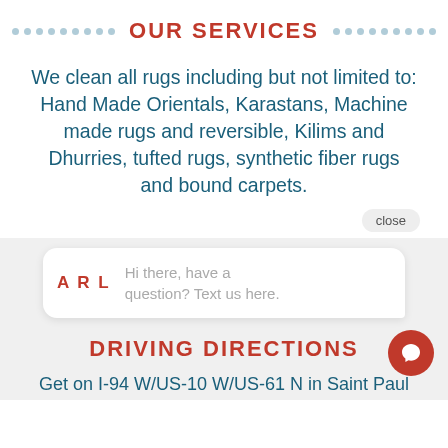OUR SERVICES
We clean all rugs including but not limited to: Hand Made Orientals, Karastans, Machine made rugs and reversible, Kilims and Dhurries, tufted rugs, synthetic fiber rugs and bound carpets.
[Figure (screenshot): Chat bubble with ARL logo and text: Hi there, have a question? Text us here. Close button shown above.]
DRIVING DIRECTIONS
Get on I-94 W/US-10 W/US-61 N in Saint Paul